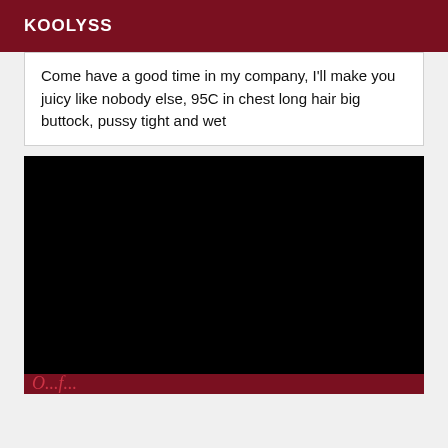KOOLYSS
Come have a good time in my company, I'll make you juicy like nobody else, 95C in chest long hair big buttock, pussy tight and wet
[Figure (photo): Large black/dark image block]
O...f...